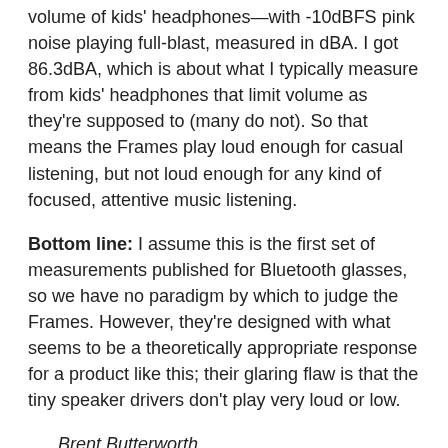volume of kids' headphones—with -10dBFS pink noise playing full-blast, measured in dBA. I got 86.3dBA, which is about what I typically measure from kids' headphones that limit volume as they're supposed to (many do not). So that means the Frames play loud enough for casual listening, but not loud enough for any kind of focused, attentive music listening.
Bottom line: I assume this is the first set of measurements published for Bluetooth glasses, so we have no paradigm by which to judge the Frames. However, they're designed with what seems to be a theoretically appropriate response for a product like this; their glaring flaw is that the tiny speaker drivers don't play very loud or low.
. . . Brent Butterworth
brentb@soundstagenetwork.com